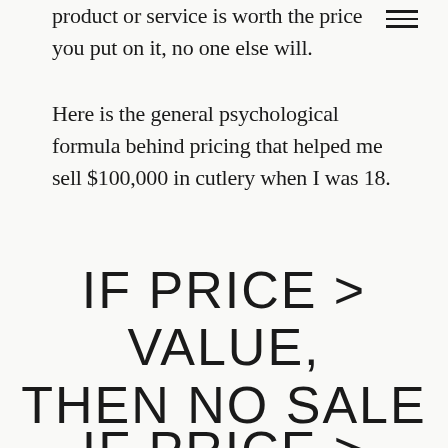product or service is worth the price you put on it, no one else will.
Here is the general psychological formula behind pricing that helped me sell $100,000 in cutlery when I was 18.
IF PRICE > VALUE, THEN NO SALE